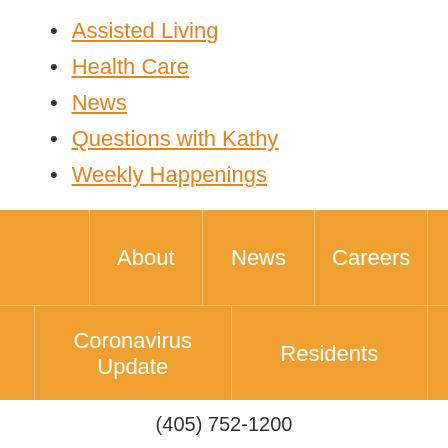Assisted Living
Health Care
News
Questions with Kathy
Weekly Happenings
About | News | Careers | Coronavirus Update | Residents
(405) 752-1200